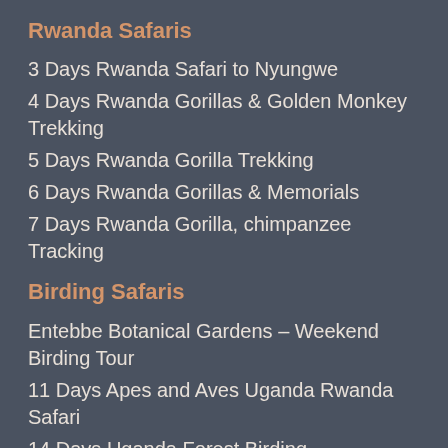Rwanda Safaris
3 Days Rwanda Safari to Nyungwe
4 Days Rwanda Gorillas & Golden Monkey Trekking
5 Days Rwanda Gorilla Trekking
6 Days Rwanda Gorillas & Memorials
7 Days Rwanda Gorilla, chimpanzee Tracking
Birding Safaris
Entebbe Botanical Gardens – Weekend Birding Tour
11 Days Apes and Aves Uganda Rwanda Safari
14 Days Uganda Forest Birding
15 Days Birding & African Wildlife Holiday
17 Days Uganda Birding and Wildlife...